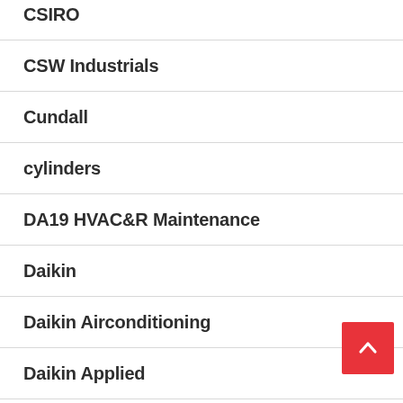CSIRO
CSW Industrials
Cundall
cylinders
DA19 HVAC&R Maintenance
Daikin
Daikin Airconditioning
Daikin Applied
Daikin Applied Americas